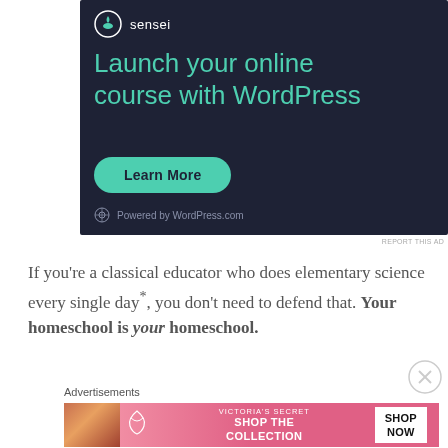[Figure (screenshot): Dark navy advertisement for Sensei/WordPress: 'Launch your online course with WordPress' with a teal 'Learn More' button and 'Powered by WordPress.com' footer text.]
REPORT THIS AD
If you're a classical educator who does elementary science every single day*, you don't need to defend that. Your homeschool is your homeschool.
[Figure (screenshot): Victoria's Secret pink advertisement with a woman's photo and text 'SHOP THE COLLECTION' with a 'SHOP NOW' button.]
Advertisements
REPORT THIS AD